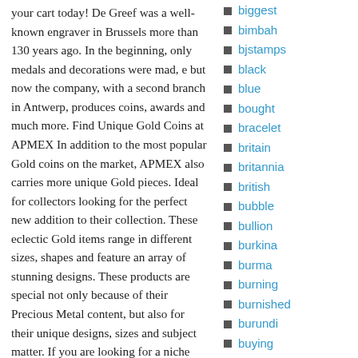your cart today! De Greef was a well-known engraver in Brussels more than 130 years ago. In the beginning, only medals and decorations were mad, e but now the company, with a second branch in Antwerp, produces coins, awards and much more. Find Unique Gold Coins at APMEX In addition to the most popular Gold coins on the market, APMEX also carries more unique Gold pieces. Ideal for collectors looking for the perfect new addition to their collection. These eclectic Gold items range in different sizes, shapes and feature an array of stunning designs. These products are special not only because of their Precious Metal content, but also for their unique designs, sizes and subject matter. If you are looking for a niche addition to your collection, find it at APMEX. 1,359 Item as described. Item exactly as shown! Rec'd item, looking forward to
biggest
bimbah
bjstamps
black
blue
bought
bracelet
britain
britannia
british
bubble
bullion
burkina
burma
burning
burnished
burundi
buying
c1850